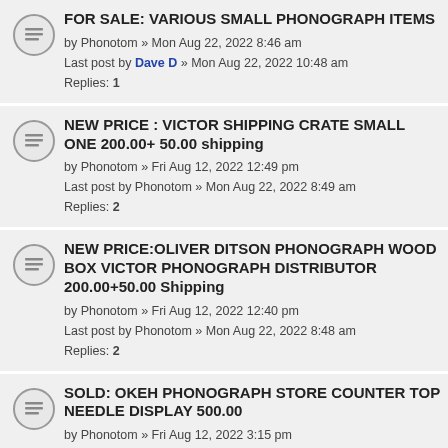FOR SALE: VARIOUS SMALL PHONOGRAPH ITEMS
by Phonotom » Mon Aug 22, 2022 8:46 am
Last post by Dave D » Mon Aug 22, 2022 10:48 am
Replies: 1
NEW PRICE : VICTOR SHIPPING CRATE SMALL ONE 200.00+ 50.00 shipping
by Phonotom » Fri Aug 12, 2022 12:49 pm
Last post by Phonotom » Mon Aug 22, 2022 8:49 am
Replies: 2
NEW PRICE:OLIVER DITSON PHONOGRAPH WOOD BOX VICTOR PHONOGRAPH DISTRIBUTOR 200.00+50.00 Shipping
by Phonotom » Fri Aug 12, 2022 12:40 pm
Last post by Phonotom » Mon Aug 22, 2022 8:48 am
Replies: 2
SOLD: OKEH PHONOGRAPH STORE COUNTER TOP NEEDLE DISPLAY 500.00
by Phonotom » Fri Aug 12, 2022 3:15 pm
Last post by fonograph » Sun Aug 21, 2022 7:13 pm
Replies: 3